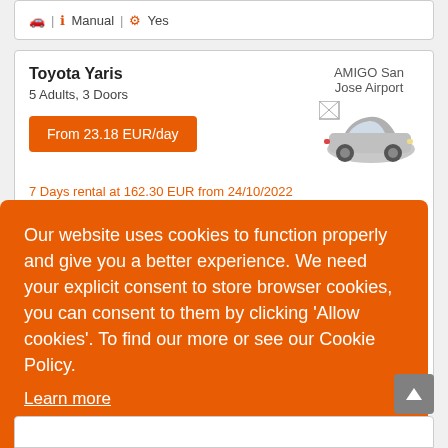[Figure (screenshot): Top partial card with icons showing transmission type (manual) and fuel (yes)]
Toyota Yaris
5 Adults, 3 Doors
From 23.18 EUR/day
[Figure (photo): AMIGO San Jose Airport - car rental supplier logo/name with image of a silver Toyota Yaris]
7 Days rental at 162.30 EUR from 24/10/2022
Our website uses cookies to function properly and give you a better experience. We need your explicit consent to store browser cookies, you can consent to them by clicking ‘Allow cookies’. To find our more or see our Cookie Policy.
Learn more
Allow Cookies